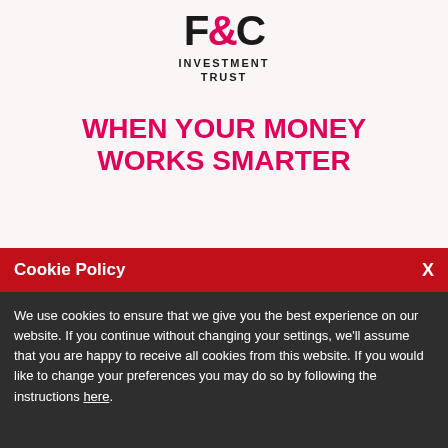[Figure (logo): F&C Investment Trust logo with stylized F&C lettering and pink ampersand, followed by 'INVESTMENT TRUST' text]
WHEN YOUR MONEY WORKS SMARTER
Cookie Policy
We use cookies to ensure that we give you the best experience on our website. If you continue without changing your settings, we'll assume that you are happy to receive all cookies from this website. If you would like to change your preferences you may do so by following the instructions here.